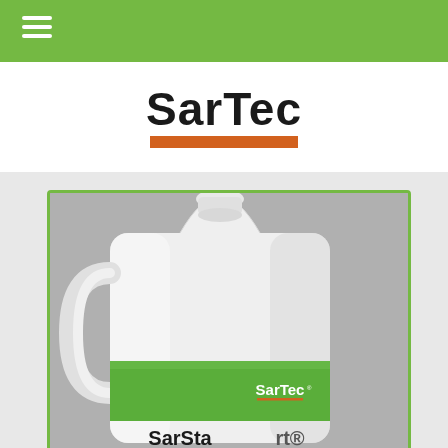[Figure (logo): SarTec company logo with bold black text and orange underbar]
[Figure (photo): A white plastic one-gallon jug/bottle with a green label band bearing the SarTec logo and partial product name SarStart at the bottom, against a gray background]